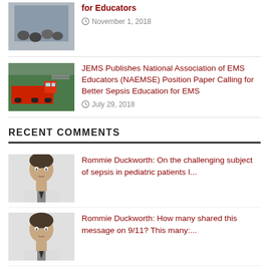for Educators
November 1, 2018
JEMS Publishes National Association of EMS Educators (NAEMSE) Position Paper Calling for Better Sepsis Education for EMS
July 29, 2018
RECENT COMMENTS
Rommie Duckworth: On the challenging subject of sepsis in pediatric patients I...
Rommie Duckworth: How many shared this message on 9/11? This many:...
Crew14 Members: Our job is stressful enough at times and it's important to h...